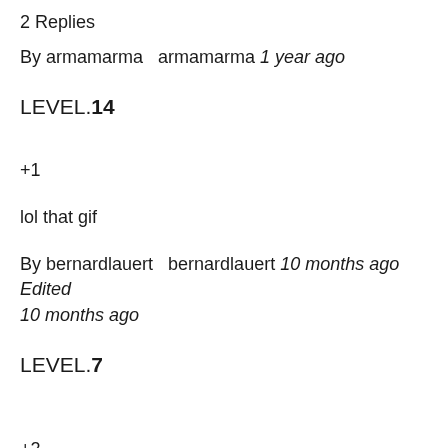2 Replies
By armamarma   armamarma 1 year ago
LEVEL.14
+1
lol that gif
By bernardlauert   bernardlauert 10 months ago Edited 10 months ago
LEVEL.7
+2